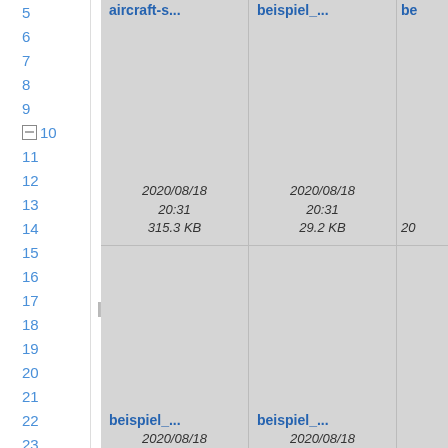5
6
7
8
9
⊟ 10
11
12
13
14
15
16
17
18
19
20
21
22
23
24
[Figure (screenshot): File browser grid view showing file cards. Row 1: aircraft-s... (2020/08/18 20:31, 315.3 KB), beispiel_... (2020/08/18 20:31, 29.2 KB), partial third card. Row 2: beispiel_... (2020/08/18 20:31, 37.3 KB), beispiel_... (2020/08/18 20:31, 85.8 KB), partial third card. Row 3: beispiel_... , beispiel_... , partial third card (all showing bottom portion).]